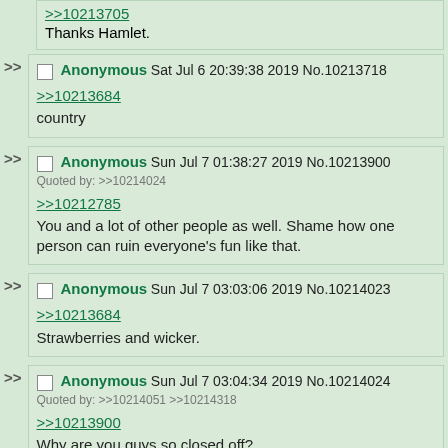>>10213705
Thanks Hamlet.
Anonymous Sat Jul 6 20:39:38 2019 No.10213718
>>10213684
country
Anonymous Sun Jul 7 01:38:27 2019 No.10213900
Quoted by: >>10214024
>>10212785
You and a lot of other people as well. Shame how one person can ruin everyone's fun like that.
Anonymous Sun Jul 7 03:03:06 2019 No.10214023
>>10213684
Strawberries and wicker.
Anonymous Sun Jul 7 03:04:34 2019 No.10214024
Quoted by: >>10214051 >>10214318
>>10213900
Why are you guys so closed off?